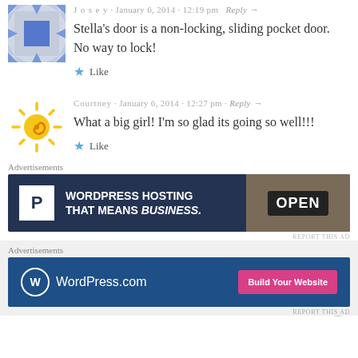Josey · January 6, 2014 · 12:19 pm · Reply →
Stella's door is a non-locking, sliding pocket door. No way to lock!
★ Like
Courtney · January 6, 2014 · 12:27 pm · Reply →
What a big girl! I'm so glad its going so well!!!
★ Like
Advertisements
[Figure (other): WordPress Hosting advertisement: dark navy background with P icon, text 'WORDPRESS HOSTING THAT MEANS BUSINESS.' and OPEN sign photo]
REPORT THIS AD
Advertisements
[Figure (other): WordPress.com advertisement: blue background with WordPress logo and 'Build Your Website' pink button]